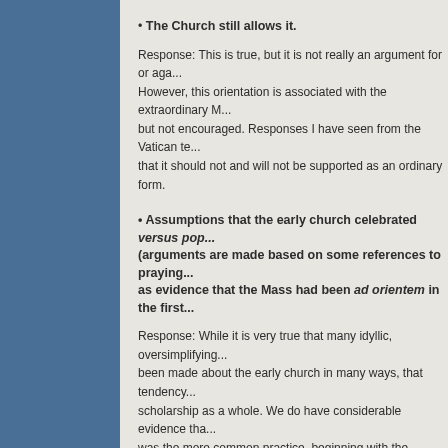• The Church still allows it.
Response: This is true, but it is not really an argument for or aga... However, this orientation is associated with the extraordinary M... but not encouraged. Responses I have seen from the Vatican te... that it should not and will not be supported as an ordinary form.
• Assumptions that the early church celebrated versus pop... (arguments are made based on some references to praying... as evidence that the Mass had been ad orientem in the first...
Response: While it is very true that many idyllic, oversimplifying... been made about the early church in many ways, that tendency... scholarship as a whole. We do have considerable evidence tha... was the more common practice, beginning with the evolution of... prayer and Christian worship from the synagogue and including... other images depicting the eucharistic worship of the church at... history. Worship in the early centuries of the church was not rea... ways, and so it is difficult to argue to strongly for or against man...